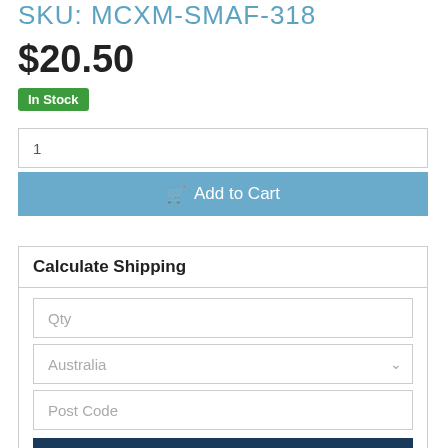SKU: MCXM-SMAF-318
$20.50
In Stock
1
Add to Cart
Calculate Shipping
Qty
Australia
Post Code
Calculate